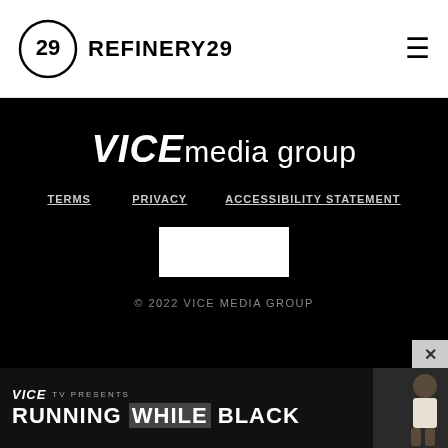REFINERY29
[Figure (logo): VICE media group logo in white text on black background]
TERMS   PRIVACY   ACCESSIBILITY STATEMENT
[Figure (other): White rectangular box on black background]
© 2022 VICE MEDIA GROUP
[Figure (screenshot): VICE TV PRESENTS RUNNING WHILE BLACK advertisement banner with photo of person]